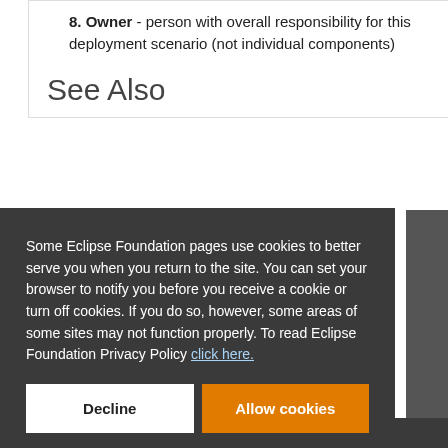8. Owner - person with overall responsibility for this deployment scenario (not individual components)
See Also
Some Eclipse Foundation pages use cookies to better serve you when you return to the site. You can set your browser to notify you before you receive a cookie or turn off cookies. If you do so, however, some areas of some sites may not function properly. To read Eclipse Foundation Privacy Policy click here.
Decline
Allow cookies
Members